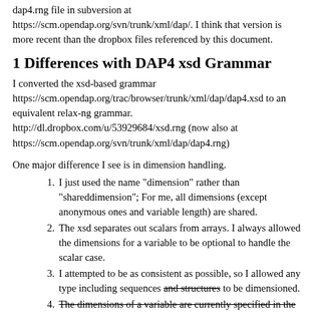dap4.rng file in subversion at https://scm.opendap.org/svn/trunk/xml/dap/. I think that version is more recent than the dropbox files referenced by this document.
1 Differences with DAP4 xsd Grammar
I converted the xsd-based grammar https://scm.opendap.org/trac/browser/trunk/xml/dap/dap4.xsd to an equivalent relax-ng grammar. http://dl.dropbox.com/u/53929684/xsd.rng (now also at https://scm.opendap.org/svn/trunk/xml/dap/dap4.rng)
One major difference I see is in dimension handling.
I just used the name "dimension" rather than "shareddimension"; For me, all dimensions (except anonymous ones and variable length) are shared.
The xsd separates out scalars from arrays. I always allowed the dimensions for a variable to be optional to handle the scalar case.
I attempted to be as consistent as possible, so I allowed any type including sequences and structures to be dimensioned.
The dimensions of a variable are currently specified in the rng